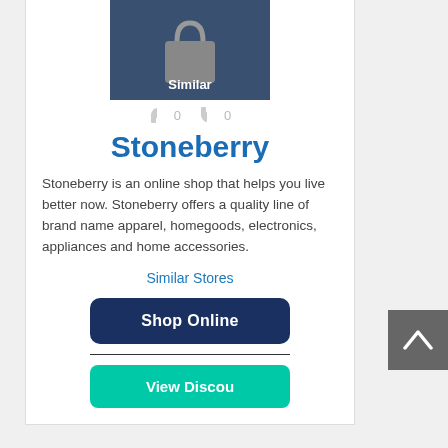[Figure (logo): Shopping bag logo with 'Similar' label on dark blue background, with thumbs up/down icons showing 0 each]
Stoneberry
Stoneberry is an online shop that helps you live better now. Stoneberry offers a quality line of brand name apparel, homegoods, electronics, appliances and home accessories.
Similar Stores
Shop Online
View Discou